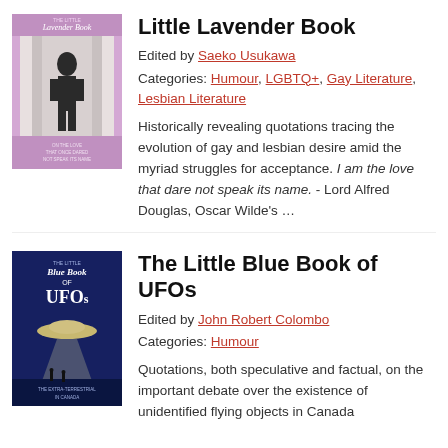[Figure (illustration): Book cover of 'The Little Lavender Book' with lavender/purple background, showing a figure in black and white, text at bottom reads 'ON THE LOVE THAT ONCE DARED NOT SPEAK ITS NAME']
Little Lavender Book
Edited by Saeko Usukawa
Categories: Humour, LGBTQ+, Gay Literature, Lesbian Literature
Historically revealing quotations tracing the evolution of gay and lesbian desire amid the myriad struggles for acceptance. I am the love that dare not speak its name. - Lord Alfred Douglas, Oscar Wilde's ...
[Figure (illustration): Book cover of 'The Little Blue Book of UFOs' with dark blue background, showing a UFO beam of light over a landscape with two silhouetted figures, text 'THE EXTRA-TERRESTRIAL IN CANADA']
The Little Blue Book of UFOs
Edited by John Robert Colombo
Categories: Humour
Quotations, both speculative and factual, on the important debate over the existence of unidentified flying objects in Canada